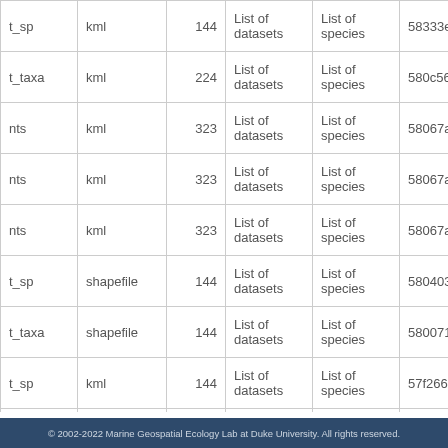| (name ending) | format | count | datasets | species | id |
| --- | --- | --- | --- | --- | --- |
| t_sp | kml | 144 | List of datasets | List of species | 58333e7fe40… |
| t_taxa | kml | 224 | List of datasets | List of species | 580c56851d4… |
| nts | kml | 323 | List of datasets | List of species | 58067a62e0a… |
| nts | kml | 323 | List of datasets | List of species | 58067a62e0a… |
| nts | kml | 323 | List of datasets | List of species | 58067a62e0a… |
| t_sp | shapefile | 144 | List of datasets | List of species | 5804030c6a8… |
| t_taxa | shapefile | 144 | List of datasets | List of species | 580071ec875… |
| t_sp | kml | 144 | List of datasets | List of species | 57f266484fe8… |
| t_sp | kml | 144 | List of datasets | List of species | 57f266484fe8… |
| nts | kml | 323 | List of datasets | List of species | 57f2c3fdda29… |
© 2002-2022 Marine Geospatial Ecology Lab at Duke University. All rights reserved.